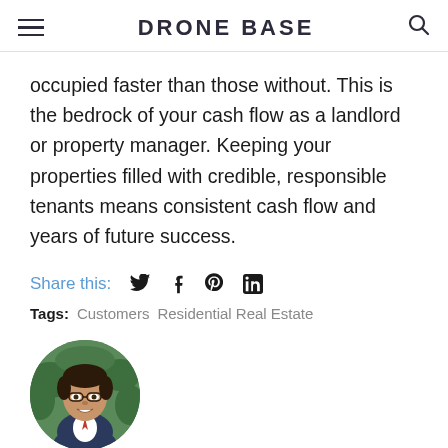DRONE BASE
occupied faster than those without. This is the bedrock of your cash flow as a landlord or property manager. Keeping your properties filled with credible, responsible tenants means consistent cash flow and years of future success.
Share this:
Tags: Customers Residential Real Estate
[Figure (photo): Circular portrait photo of a man with glasses, dark hair, wearing a suit, smiling, with green foliage in the background]